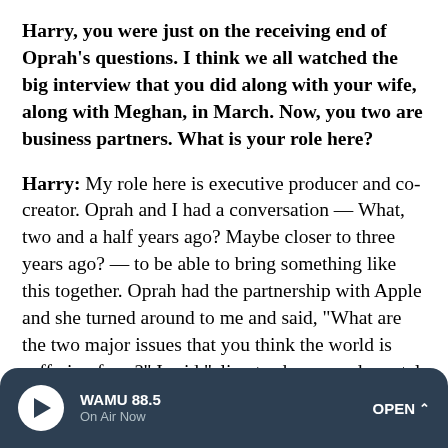Harry, you were just on the receiving end of Oprah's questions. I think we all watched the big interview that you did along with your wife, along with Meghan, in March. Now, you two are business partners. What is your role here?
Harry: My role here is executive producer and co-creator. Oprah and I had a conversation — What, two and a half years ago? Maybe closer to three years ago? — to be able to bring something like this together. Oprah had the partnership with Apple and she turned around to me and said, "What are the two major issues that you think the world is suffering from?" I said "climate change and mental health." Oprah's been having people on her sofa and talking to audiences for
WAMU 88.5 On Air Now OPEN